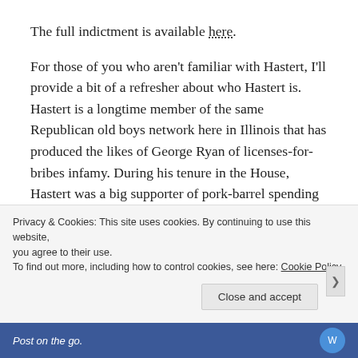The full indictment is available here.
For those of you who aren't familiar with Hastert, I'll provide a bit of a refresher about who Hastert is. Hastert is a longtime member of the same Republican old boys network here in Illinois that has produced the likes of George Ryan of licenses-for-bribes infamy. During his tenure in the House, Hastert was a big supporter of pork-barrel spending projects (example of that here), especially if they benefited Northern Illinois and not other areas of Illinois and the rest of the country. As House Speaker, Hastert allegedly received
Privacy & Cookies: This site uses cookies. By continuing to use this website, you agree to their use.
To find out more, including how to control cookies, see here: Cookie Policy
Close and accept
Post on the go.